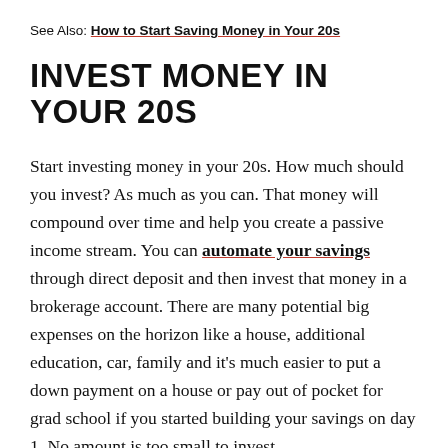See Also: How to Start Saving Money in Your 20s
INVEST MONEY IN YOUR 20S
Start investing money in your 20s. How much should you invest? As much as you can. That money will compound over time and help you create a passive income stream. You can automate your savings through direct deposit and then invest that money in a brokerage account. There are many potential big expenses on the horizon like a house, additional education, car, family and it’s much easier to put a down payment on a house or pay out of pocket for grad school if you started building your savings on day 1. No amount is too small to invest.